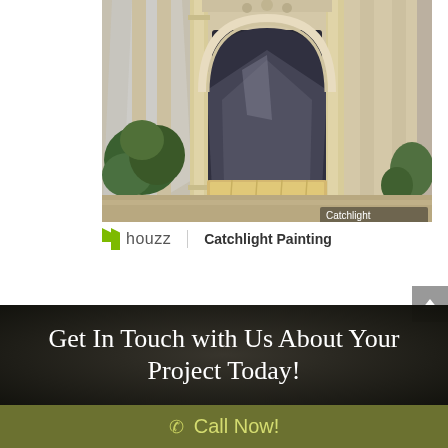[Figure (photo): Exterior of an ornate classical building entrance with arched doorway, decorative columns and moldings, wrapped in plastic sheeting for a painting/renovation project. Green shrubbery visible on the left side.]
houzz   Catchlight Painting
Get In Touch with Us About Your Project Today!
Call Now!